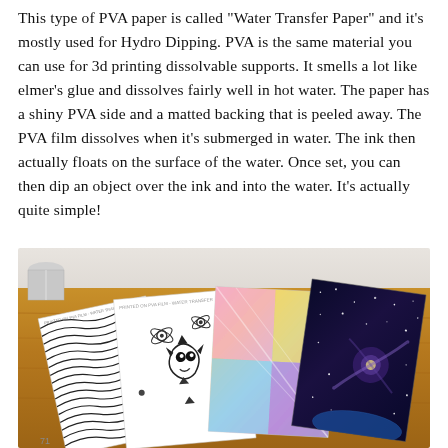This type of PVA paper is called "Water Transfer Paper" and it's mostly used for Hydro Dipping. PVA is the same material you can use for 3d printing dissolvable supports. It smells a lot like elmer's glue and dissolves fairly well in hot water. The paper has a shiny PVA side and a matted backing that is peeled away. The PVA film dissolves when it's submerged in water. The ink then actually floats on the surface of the water. Once set, you can then dip an object over the ink and into the water. It's actually quite simple!
[Figure (photo): Photo of several printed water transfer/hydro dipping papers laid out on a wooden table. Papers show various designs including wavy black lines, Majora's Mask symbol pattern, colorful geometric shapes, and a galaxy/space image. A silver cylindrical object is visible in the top left corner.]